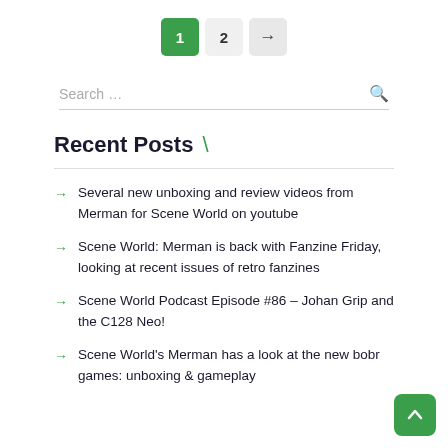Pagination: 1, 2, →
Search …
Recent Posts \
Several new unboxing and review videos from Merman for Scene World on youtube
Scene World: Merman is back with Fanzine Friday, looking at recent issues of retro fanzines
Scene World Podcast Episode #86 – Johan Grip and the C128 Neo!
Scene World's Merman has a look at the new bobr games: unboxing & gameplay